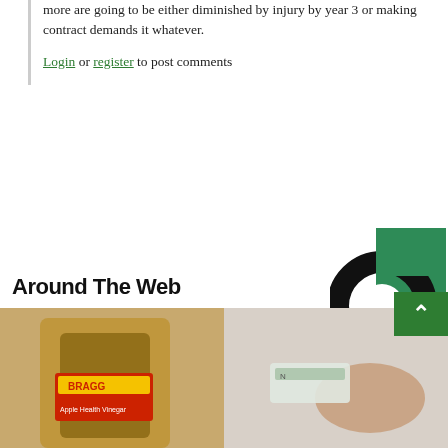more are going to be either diminished by injury by year 3 or making contract demands it whatever.
Login or register to post comments
Around The Web
[Figure (logo): Circular donut-style logo with black arc and green square element]
[Figure (photo): Photo showing a bottle of Bragg apple cider vinegar on the left and a hand holding something on the right]